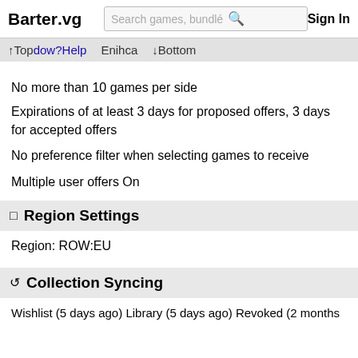Barter.vg  Search games, bundles  Sign In
↑Top  dow  ?Help    Enihca    ↓Bottom
No more than 10 games per side
Expirations of at least 3 days for proposed offers, 3 days for accepted offers
No preference filter when selecting games to receive
Multiple user offers On
🔲 Region Settings
Region: ROW:EU
↺ Collection Syncing
Wishlist (5 days ago) Library (5 days ago) Revoked (2 months